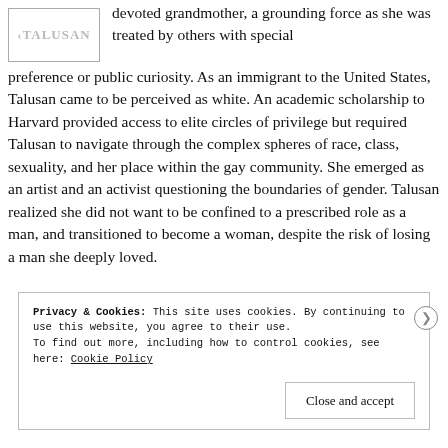[Figure (logo): TALUSAN logo in grey text inside a rectangular border]
devoted grandmother, a grounding force as she was treated by others with special preference or public curiosity. As an immigrant to the United States, Talusan came to be perceived as white. An academic scholarship to Harvard provided access to elite circles of privilege but required Talusan to navigate through the complex spheres of race, class, sexuality, and her place within the gay community. She emerged as an artist and an activist questioning the boundaries of gender. Talusan realized she did not want to be confined to a prescribed role as a man, and transitioned to become a woman, despite the risk of losing a man she deeply loved.
Privacy & Cookies: This site uses cookies. By continuing to use this website, you agree to their use.
To find out more, including how to control cookies, see here: Cookie Policy
Close and accept